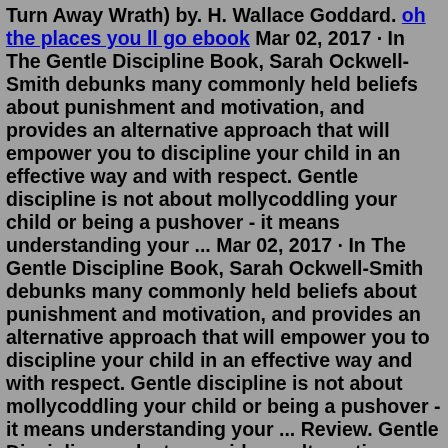Turn Away Wrath) by. H. Wallace Goddard. oh the places you ll go ebook Mar 02, 2017 · In The Gentle Discipline Book, Sarah Ockwell-Smith debunks many commonly held beliefs about punishment and motivation, and provides an alternative approach that will empower you to discipline your child in an effective way and with respect. Gentle discipline is not about mollycoddling your child or being a pushover - it means understanding your ... Mar 02, 2017 · In The Gentle Discipline Book, Sarah Ockwell-Smith debunks many commonly held beliefs about punishment and motivation, and provides an alternative approach that will empower you to discipline your child in an effective way and with respect. Gentle discipline is not about mollycoddling your child or being a pushover - it means understanding your ... Review. Gentle Discipline seeks to provide an alternative approach to the mainstream philosophy regarding the disciplining of children. I appreciated many of the tips and suggestions found in this book. It is very helpful to remember how